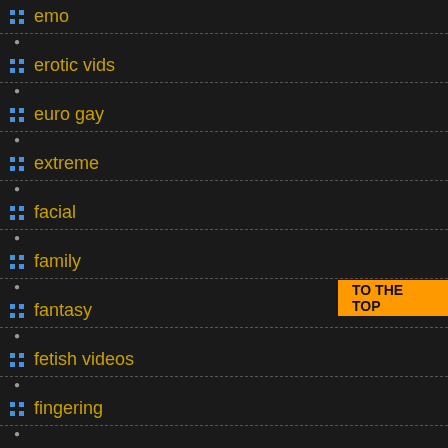emo
erotic vids
euro gay
extreme
facial
family
fantasy
fetish videos
fingering
fisting